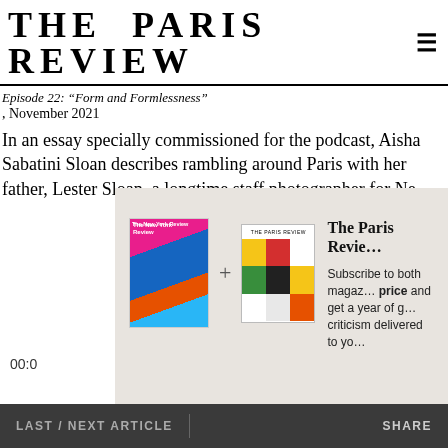THE PARIS REVIEW
Episode 22: “Form and Formlessness”
, November 2021
In an essay specially commissioned for the podcast, Aisha Sabatini Sloan describes rambling around Paris with her father, Lester Sloan, a longtime staff photographer for Ne
[Figure (screenshot): Modal overlay showing subscription offer for The Paris Review and The New York Review. Includes magazine cover images side by side with a plus sign between them, text 'The Paris Review', 'Subscribe to both magazines at one price and get a year of great criticism delivered to you', and a blue 'Subscribe Now' button.]
00:0
LAST / NEXT ARTICLE   SHARE